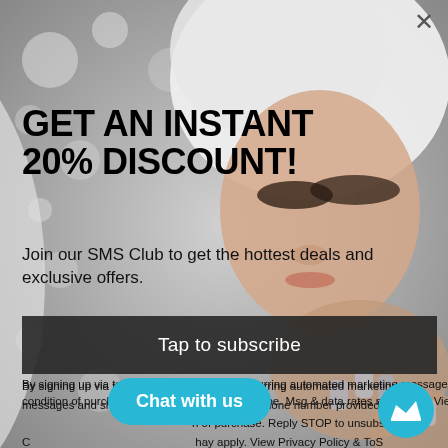[Figure (photo): Background photo of a glamorous woman with white/platinum hair and silver manicured nails against a bokeh silver/white background]
GET AN INSTANT 20% DISCOUNT!
Join our SMS Club to get the hottest deals and exclusive offers.
Tap to subscribe
By signing up via text you agree to receive recurring automated marketing messages and shopping cart reminders at the phone number provided. Consent is not a condition of purchase. Reply STOP to unsubscribe. Msg & data rates may apply. View Privacy Policy & ToS